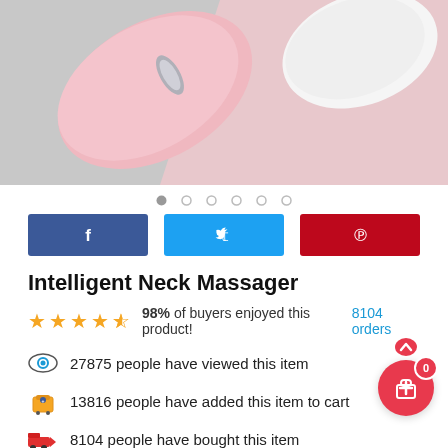[Figure (photo): Product photo of pink intelligent neck massager device against gray and pink background]
Intelligent Neck Massager
98% of buyers enjoyed this product! 8104 orders
27875 people have viewed this item
13816 people have added this item to cart
8104 people have bought this item
Color